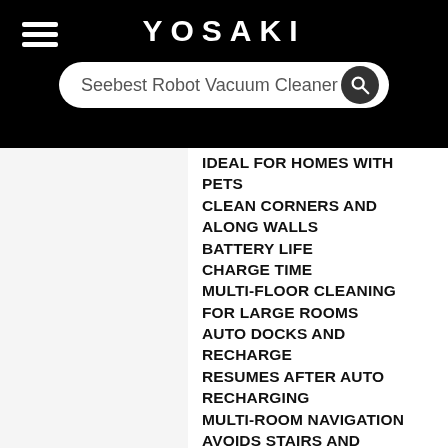YOSAKI
Seebest Robot Vacuum Cleaner
IDEAL FOR HOMES WITH PETS
CLEAN CORNERS AND ALONG WALLS
BATTERY LIFE
CHARGE TIME
MULTI-FLOOR CLEANING FOR LARGE ROOMS
AUTO DOCKS AND RECHARGE
RESUMES AFTER AUTO RECHARGING
MULTI-ROOM NAVIGATION
AVOIDS STAIRS AND OBJECTS
QUIET OPERATION
BOOSTS SUCTION POWER
HEPA FILTER
MAPS & PLANS ROUTE
SWEEPS AND MOPS
CONCENTRATED CLEANING